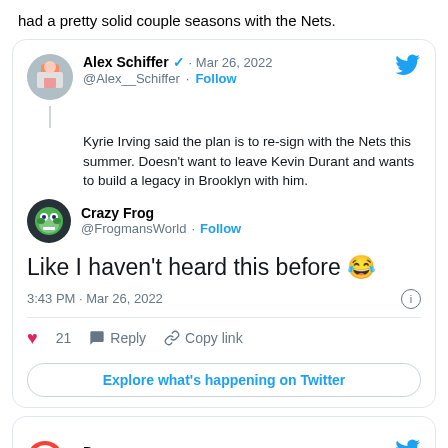had a pretty solid couple seasons with the Nets.
[Figure (screenshot): Tweet by Alex Schiffer (@Alex__Schiffer) on Mar 26, 2022: Kyrie Irving said the plan is to re-sign with the Nets this summer. Doesn't want to leave Kevin Durant and wants to build a legacy in Brooklyn with him. Reply tweet by Crazy Frog (@FrogmansWorld) saying 'Like I haven't heard this before 😂' at 3:43 PM Mar 26, 2022, with 21 likes. Explore what's happening on Twitter button.]
[Figure (screenshot): Partial tweet card by Drew on Mar 26, 2022 with Glidden logo avatar and Twitter bird icon.]